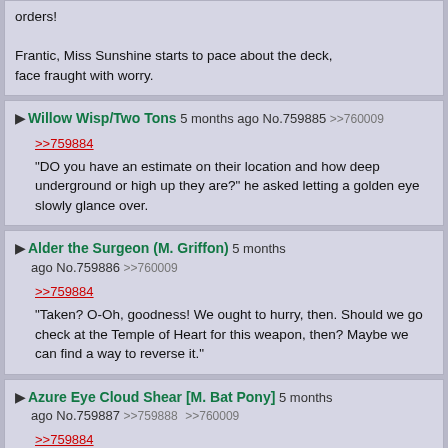orders!
Frantic, Miss Sunshine starts to pace about the deck, face fraught with worry.
▶Willow Wisp/Two Tons 5 months ago No.759885 >>760009
>>759884
"DO you have an estimate on their location and how deep underground or high up they are?" he asked letting a golden eye slowly glance over.
▶Alder the Surgeon (M. Griffon) 5 months ago No.759886 >>760009
>>759884
"Taken? O-Oh, goodness! We ought to hurry, then. Should we go check at the Temple of Heart for this weapon, then? Maybe we can find a way to reverse it."
▶Azure Eye Cloud Shear [M. Bat Pony] 5 months ago No.759887 >>759888 >>760009
>>759884
Clouds face drops with dread, feeling concern of what they might get into after hearing of the weapon, and over hearing the others being taken and the rest trapped.
"Do…Do you think they took them to the Vault?"